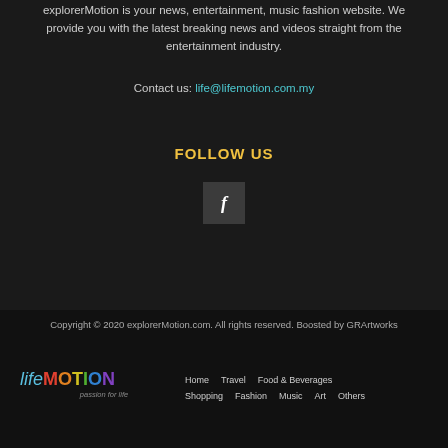explorerMotion is your news, entertainment, music fashion website. We provide you with the latest breaking news and videos straight from the entertainment industry.
Contact us: life@lifemotion.com.my
FOLLOW US
[Figure (illustration): Facebook icon — white letter f on dark square button]
Copyright © 2020 explorerMotion.com. All rights reserved. Boosted by GRArtworks
[Figure (logo): lifeMOTION logo with passion for life tagline, colored letters]
Home
Travel
Food & Beverages
Shopping
Fashion
Music
Art
Others